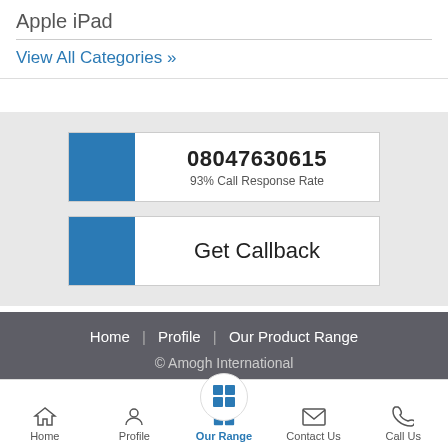Apple iPad
View All Categories »
08047630615
93% Call Response Rate
Get Callback
Home | Profile | Our Product Range
© Amogh International
Home | Profile | Our Range | Contact Us | Call Us